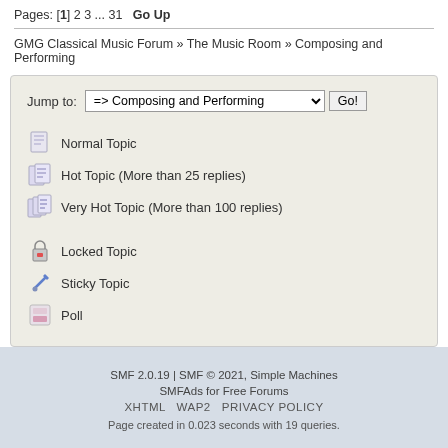Pages: [1] 2 3 ... 31   Go Up
GMG Classical Music Forum » The Music Room » Composing and Performing
Jump to: => Composing and Performing   Go!
Normal Topic
Hot Topic (More than 25 replies)
Very Hot Topic (More than 100 replies)
Locked Topic
Sticky Topic
Poll
SMF 2.0.19 | SMF © 2021, Simple Machines
SMFAds for Free Forums
XHTML   WAP2   PRIVACY POLICY
Page created in 0.023 seconds with 19 queries.